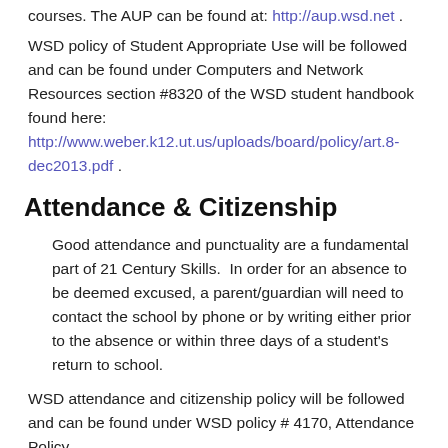courses. The AUP can be found at: http://aup.wsd.net .
WSD policy of Student Appropriate Use will be followed and can be found under Computers and Network Resources section #8320 of the WSD student handbook found here: http://www.weber.k12.ut.us/uploads/board/policy/art.8-dec2013.pdf .
Attendance & Citizenship
Good attendance and punctuality are a fundamental part of 21 Century Skills. In order for an absence to be deemed excused, a parent/guardian will need to contact the school by phone or by writing either prior to the absence or within three days of a student's return to school.
WSD attendance and citizenship policy will be followed and can be found under WSD policy # 4170, Attendance Policy. (http://www.weber.k12.ut.us/images/board/policy/pp-artc4.140701.pdf )
NOTE: Students may be placed on an individualized